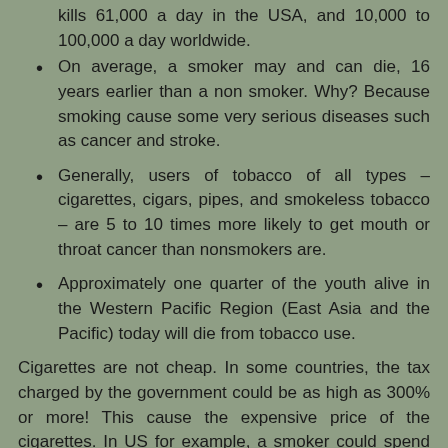kills 61,000 a day in the USA, and 10,000 to 100,000 a day worldwide.
On average, a smoker may and can die, 16 years earlier than a non smoker. Why? Because smoking cause some very serious diseases such as cancer and stroke.
Generally, users of tobacco of all types – cigarettes, cigars, pipes, and smokeless tobacco – are 5 to 10 times more likely to get mouth or throat cancer than nonsmokers are.
Approximately one quarter of the youth alive in the Western Pacific Region (East Asia and the Pacific) today will die from tobacco use.
Cigarettes are not cheap. In some countries, the tax charged by the government could be as high as 300% or more! This cause the expensive price of the cigarettes. In US for example, a smoker could spend approximately $3000 or more a year. If you've been smoking for 10 years (like I used to be), just imagine how much money you have spent, and this money is used to kill yourself (or make you die earlier - that's pretty much the same thing though).